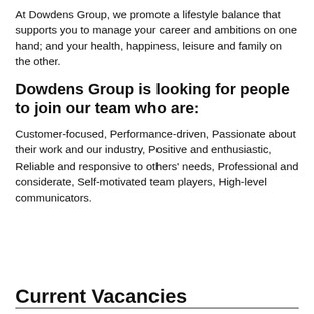At Dowdens Group, we promote a lifestyle balance that supports you to manage your career and ambitions on one hand; and your health, happiness, leisure and family on the other.
Dowdens Group is looking for people to join our team who are:
Customer-focused, Performance-driven, Passionate about their work and our industry, Positive and enthusiastic, Reliable and responsive to others' needs, Professional and considerate, Self-motivated team players, High-level communicators.
Current Vacancies